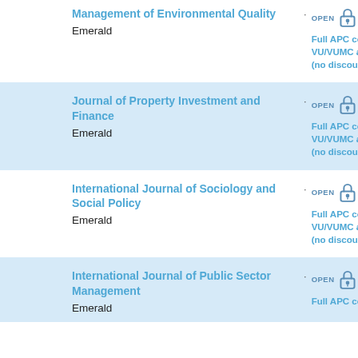Management of Environmental Quality
Emerald
Full APC costs for VU/VUMC authors (no discount)
Journal of Property Investment and Finance
Emerald
Full APC costs for VU/VUMC authors (no discount)
International Journal of Sociology and Social Policy
Emerald
Full APC costs for VU/VUMC authors (no discount)
International Journal of Public Sector Management
Emerald
Full APC costs for